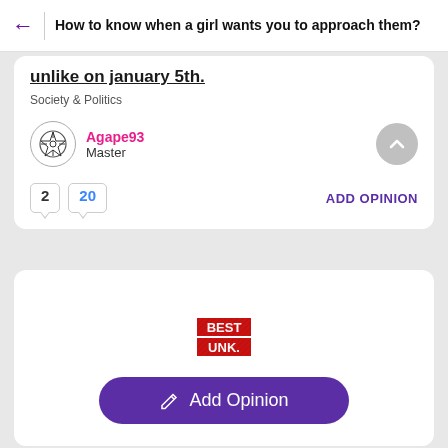How to know when a girl wants you to approach them?
unlike on january 5th.
Society & Politics
Agape93
Master
2   20
ADD OPINION
[Figure (screenshot): Best icon badge (red/striped BEST text stamp)]
Add Opinion